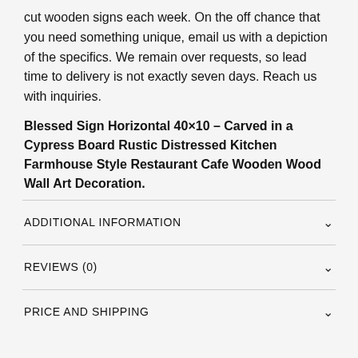cut wooden signs each week. On the off chance that you need something unique, email us with a depiction of the specifics. We remain over requests, so lead time to delivery is not exactly seven days. Reach us with inquiries.
Blessed Sign Horizontal 40×10 – Carved in a Cypress Board Rustic Distressed Kitchen Farmhouse Style Restaurant Cafe Wooden Wood Wall Art Decoration.
ADDITIONAL INFORMATION
REVIEWS (0)
PRICE AND SHIPPING